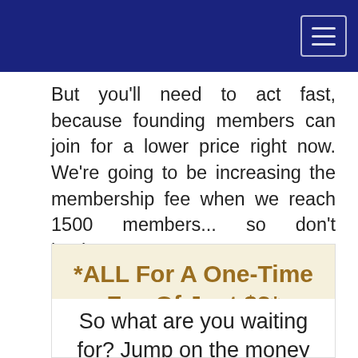But you'll need to act fast, because founding members can join for a lower price right now. We're going to be increasing the membership fee when we reach 1500 members... so don't hesitate.
*ALL For A One-Time Fee Of Just $3*
So what are you waiting for? Jump on the money